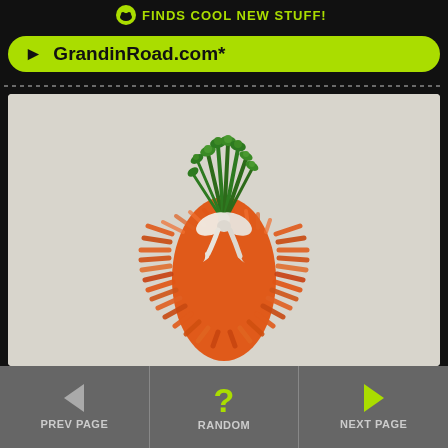FINDS COOL NEW STUFF!
► GrandinRoad.com*
[Figure (photo): A decorative carrot wreath or door hanger made of orange fringe/grass material shaped like a carrot, with green sprigs at the top tied with a white ribbon bow, displayed against a light beige background.]
◄ PREV PAGE   ? RANDOM   ► NEXT PAGE